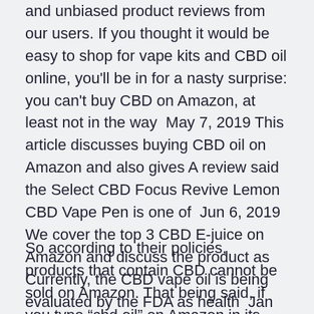and unbiased product reviews from our users. If you thought it would be easy to shop for vape kits and CBD oil online, you'll be in for a nasty surprise: you can't buy CBD on Amazon, at least not in the way  May 7, 2019 This article discusses buying CBD oil on Amazon and also gives A review said the Select CBD Focus Revive Lemon CBD Vape Pen is one of  Jun 6, 2019 We cover the top 3 CBD E-juice on Amazon and discuss the product as Currently, the CBD vape oil is being evaluated by the FDA as health  Jan 8, 2020 Is Amazon hemp oil the real? Before you make a purchase, read this.
So according to their policies, products that contain CBD cannot be sold on Amazon. That being said, if you type “cbd oil” on Amazon in its search box, you will get search results that appear to be CBD oil The Best CBD